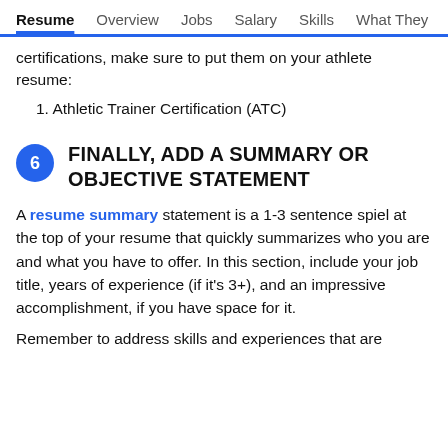Resume  Overview  Jobs  Salary  Skills  What They >
certifications, make sure to put them on your athlete resume:
1. Athletic Trainer Certification (ATC)
6  FINALLY, ADD A SUMMARY OR OBJECTIVE STATEMENT
A resume summary statement is a 1-3 sentence spiel at the top of your resume that quickly summarizes who you are and what you have to offer. In this section, include your job title, years of experience (if it's 3+), and an impressive accomplishment, if you have space for it.
Remember to address skills and experiences that are